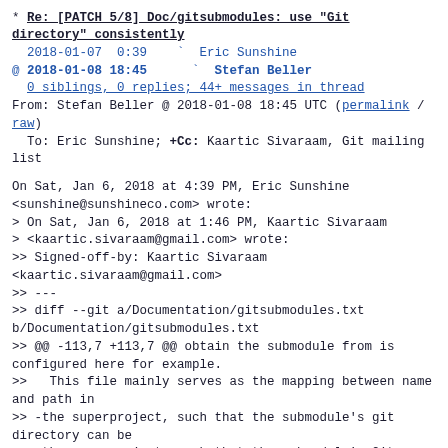* Re: [PATCH 5/8] Doc/gitsubmodules: use "Git directory" consistently
2018-01-07  0:39     Eric Sunshine
@ 2018-01-08 18:45      Stefan Beller
  0 siblings, 0 replies; 44+ messages in thread
From: Stefan Beller @ 2018-01-08 18:45 UTC (permalink / raw)
  To: Eric Sunshine; +Cc: Kaartic Sivaraam, Git mailing list
On Sat, Jan 6, 2018 at 4:39 PM, Eric Sunshine
<sunshine@sunshineco.com> wrote:
> On Sat, Jan 6, 2018 at 1:46 PM, Kaartic Sivaraam
> <kaartic.sivaraam@gmail.com> wrote:
>> Signed-off-by: Kaartic Sivaraam
<kaartic.sivaraam@gmail.com>
>> ---
>> diff --git a/Documentation/gitsubmodules.txt
b/Documentation/gitsubmodules.txt
>> @@ -113,7 +113,7 @@ obtain the submodule from is
configured here for example.
>>   This file mainly serves as the mapping between name
and path in
>> -the superproject, such that the submodule's git
directory can be
>> +the superproject, such that the submodule's Git
directory can be
>>    located.
>